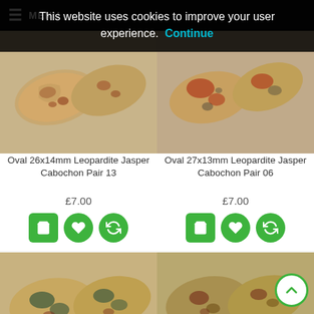MENU
This website uses cookies to improve your user experience. Continue
[Figure (photo): Oval 26x14mm Leopardite Jasper cabochon pair stones - tan/brown/red patterned oval gemstones]
Oval 26x14mm Leopardite Jasper Cabochon Pair 13
£7.00
[Figure (photo): Oval 27x13mm Leopardite Jasper cabochon pair stones - tan/brown with dark spots]
Oval 27x13mm Leopardite Jasper Cabochon Pair 06
£7.00
[Figure (photo): Partially visible leopardite jasper cabochon pair - bottom left product]
[Figure (photo): Partially visible leopardite jasper cabochon pair - bottom right product]